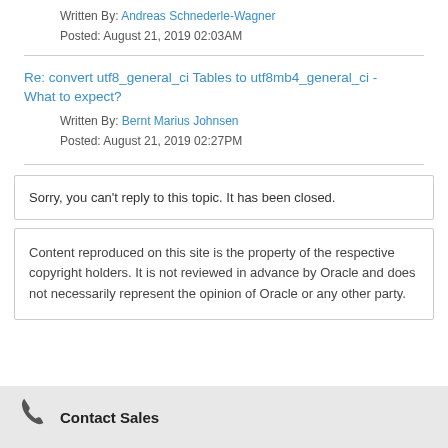Written By: Andreas Schnederle-Wagner
Posted: August 21, 2019 02:03AM
Re: convert utf8_general_ci Tables to utf8mb4_general_ci - What to expect?
Written By: Bernt Marius Johnsen
Posted: August 21, 2019 02:27PM
Sorry, you can't reply to this topic. It has been closed.
Content reproduced on this site is the property of the respective copyright holders. It is not reviewed in advance by Oracle and does not necessarily represent the opinion of Oracle or any other party.
Contact Sales